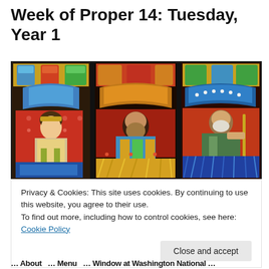Week of Proper 14: Tuesday, Year 1
[Figure (photo): Stained glass window depicting three religious figures in colorful panels with intricate decorative patterns.]
Privacy & Cookies: This site uses cookies. By continuing to use this website, you agree to their use.
To find out more, including how to control cookies, see here: Cookie Policy
… About … Menu … Window at Washington National …